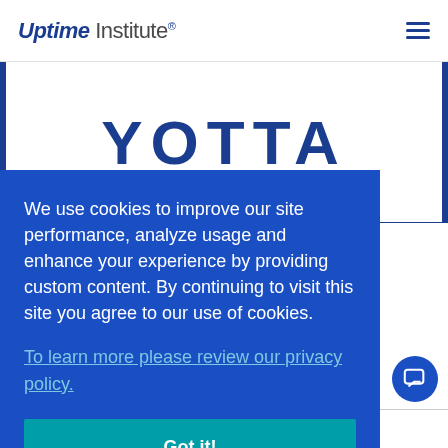Uptime Institute
[Figure (logo): YOTTA logo in bold blue text on white background with blue left and right borders]
Yotta Infrastructure Solutions is positioned as a new-age [data center company providing colocation and managed hosting] services.
We use cookies to improve our site performance, analyze usage and enhance your experience by providing custom content. By continuing to visit this site you agree to our use of cookies. To learn more please review our privacy policy.
Got it!
PayPal is committed to democratizing financial services and